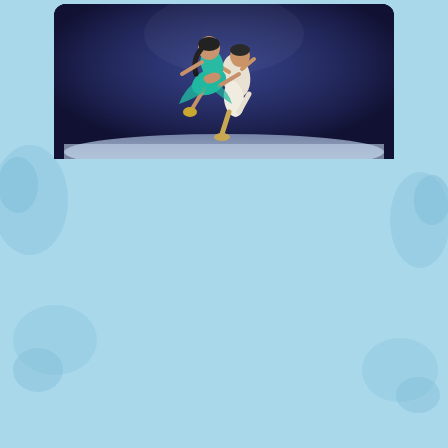[Figure (photo): Two ice skaters performing Disney On Ice — one in a teal/turquoise Jasmine costume being lifted by a partner in white and gold Aladdin costume, against a dark stage background with ice surface visible below.]
How are you preparing for your role of Jasmine in the Disney On Ice show?
The most important things I do to prepare involve both on and off ice activities. My skating partner and I must make sure we are both well nourished and warmed up off the ice in order to practice a few of our high-level pair lifts we perform in the show. Once we are warmed up, it's important to practice on the ice and adjust every week to the new ice surface (size and type of ice).